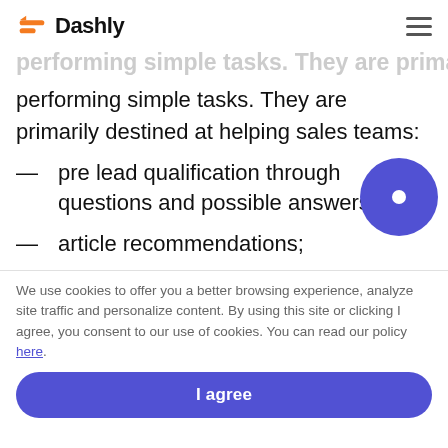Dashly
performing simple tasks. They are primarily destined at helping sales teams:
pre lead qualification through questions and possible answers;
article recommendations;
We use cookies to offer you a better browsing experience, analyze site traffic and personalize content. By using this site or clicking I agree, you consent to our use of cookies. You can read our policy here.
I agree